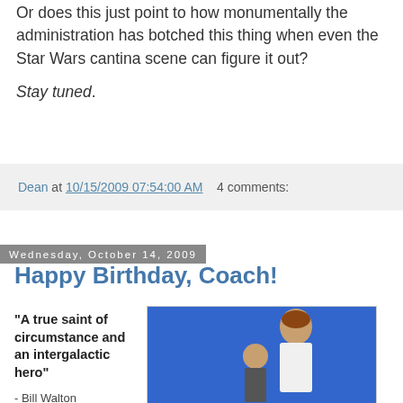Or does this just point to how monumentally the administration has botched this thing when even the Star Wars cantina scene can figure it out?
Stay tuned.
Dean at 10/15/2009 07:54:00 AM   4 comments:
Wednesday, October 14, 2009
Happy Birthday, Coach!
“A true saint of circumstance and an intergalactic hero”
- Bill Walton
(pictured above
[Figure (photo): Photo of a tall basketball player in a UCLA white jersey with a shorter person, in front of a blue background]